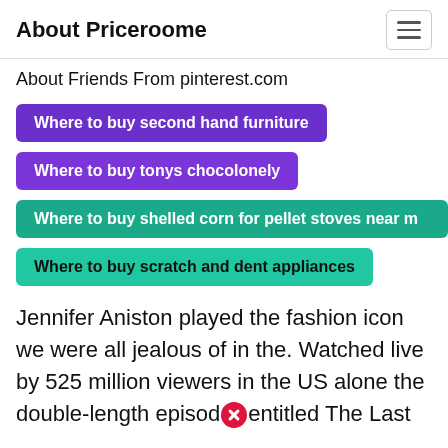About Priceroome
About Friends From pinterest.com
Where to buy second hand furniture
Where to buy tonys chocolonely
Where to buy shelled corn for pellet stoves near m
Where to buy scratch and dent appliances
Jennifer Aniston played the fashion icon we were all jealous of in the. Watched live by 525 million viewers in the US alone the double-length episode entitled The Last